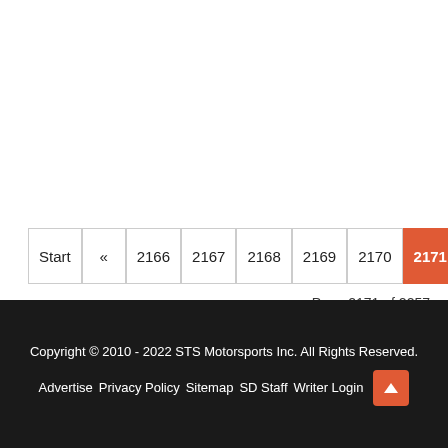[Figure (other): Pagination control showing Start, «, 2166, 2167, 2168, 2169, 2170, 2171 (active/highlighted in orange), and partially visible next page button]
Page 2171 of 2257
Copyright © 2010 - 2022 STS Motorsports Inc. All Rights Reserved.
Advertise   Privacy Policy   Sitemap   SD Staff   Writer Login